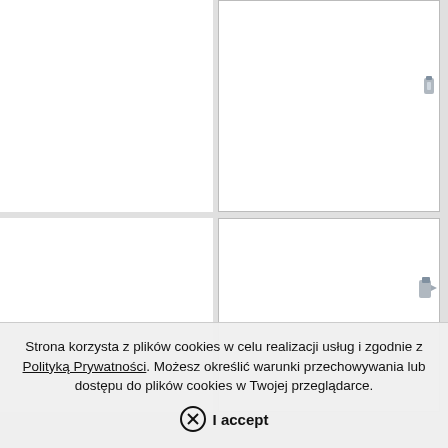[Figure (screenshot): Top-right white rectangular box with a rotated dimension label '36 mm (1.5 inch)' and a small component image at the right edge]
[Figure (screenshot): Bottom-right white rectangular box with a rotated dimension label '15 mm (1.5 inch)' and a small component image at the right edge]
Strona korzysta z plików cookies w celu realizacji usług i zgodnie z Polityką Prywatności. Możesz określić warunki przechowywania lub dostępu do plików cookies w Twojej przeglądarce.
I accept